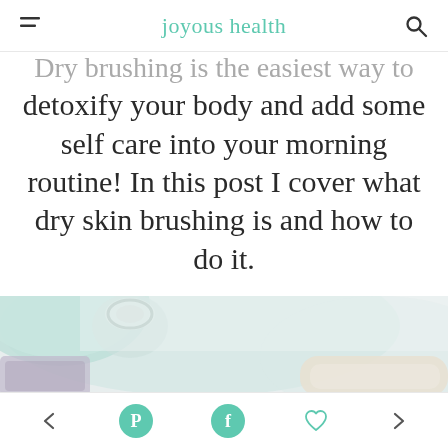joyous health
Dry brushing is the easiest way to detoxify your body and add some self care into your morning routine! In this post I cover what dry skin brushing is and how to do it.
[Figure (photo): Flat lay photo showing a glass jar, a light teal/mint speckled plate with gold rim, dried lavender flowers, and what appears to be a natural bristle brush on a white marble surface.]
Navigation toolbar with back arrow, Pinterest icon, Facebook icon, heart/favorite icon, and forward arrow